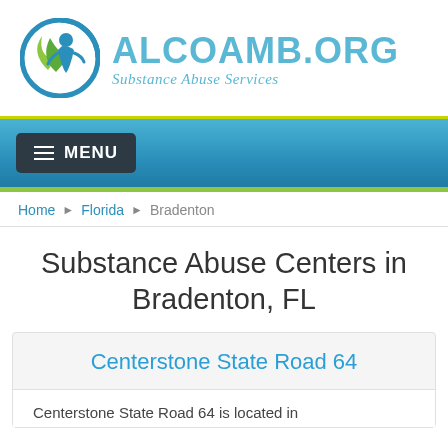[Figure (logo): ALCOAMB.ORG Substance Abuse Services logo with circular green and blue icon]
[Figure (screenshot): Navigation bar with MENU button]
Home › Florida › Bradenton
Substance Abuse Centers in Bradenton, FL
Centerstone State Road 64
Centerstone State Road 64 is located in